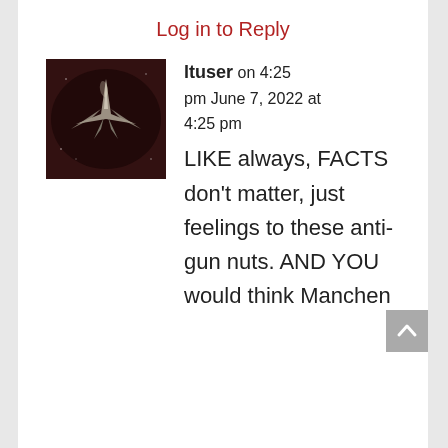Log in to Reply
[Figure (photo): User avatar showing a jet aircraft in dark, dramatic lighting]
ltuser on 4:25 pm June 7, 2022 at 4:25 pm
LIKE always, FACTS don't matter, just feelings to these anti-gun nuts. AND YOU would think Manchen